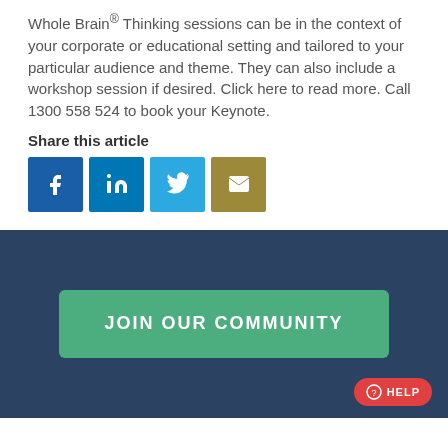Whole Brain® Thinking sessions can be in the context of your corporate or educational setting and tailored to your particular audience and theme. They can also include a workshop session if desired. Click here to read more. Call 1300 558 524 to book your Keynote.
Share this article
[Figure (infographic): Social sharing icons: Facebook (blue), LinkedIn (blue), Twitter (light blue), Email (olive/gold)]
JOIN OUR COMMUNITY